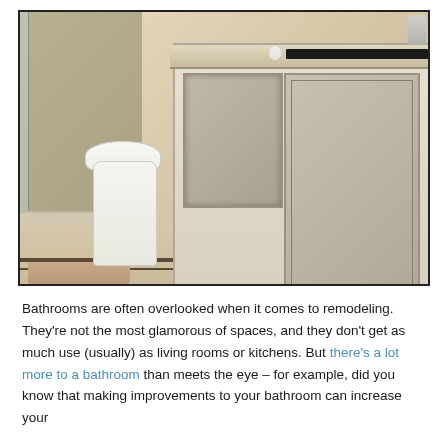[Figure (photo): Photograph of a modern bathroom interior featuring beige/cream vanity cabinets with mirrored lower panels, a white toilet, a glass-enclosed shower in the background, marble-patterned tile flooring with dark stripe inlays, and a countertop with accessories.]
Bathrooms are often overlooked when it comes to remodeling. They're not the most glamorous of spaces, and they don't get as much use (usually) as living rooms or kitchens. But there's a lot more to a bathroom than meets the eye – for example, did you know that making improvements to your bathroom can increase your